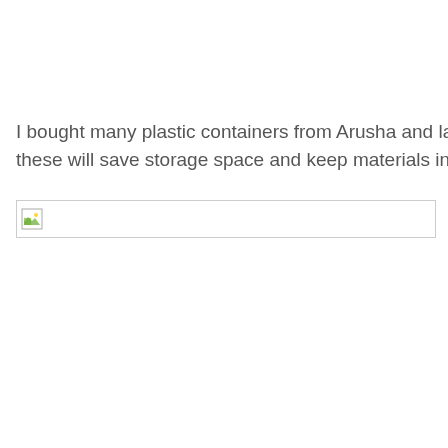I bought many plastic containers from Arusha and labeled these will save storage space and keep materials in good c
[Figure (photo): Broken/missing image placeholder showing a small image icon with a border]